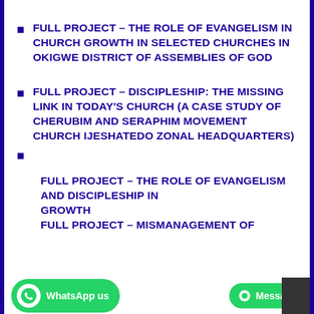FULL PROJECT – THE ROLE OF EVANGELISM IN CHURCH GROWTH IN SELECTED CHURCHES IN OKIGWE DISTRICT OF ASSEMBLIES OF GOD
FULL PROJECT – DISCIPLESHIP: THE MISSING LINK IN TODAY'S CHURCH (A CASE STUDY OF CHERUBIM AND SERAPHIM MOVEMENT CHURCH IJESHATEDO ZONAL HEADQUARTERS)
FULL PROJECT – THE ROLE OF EVANGELISM AND DISCIPLESHIP IN GROWTH
FULL PROJECT – MISMANAGEMENT OF